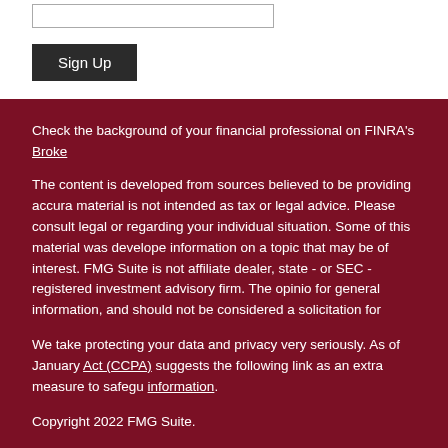[Figure (other): Input text field (form element)]
Sign Up
Check the background of your financial professional on FINRA's Broke
The content is developed from sources believed to be providing accura material is not intended as tax or legal advice. Please consult legal or regarding your individual situation. Some of this material was develope information on a topic that may be of interest. FMG Suite is not affiliate dealer, state - or SEC - registered investment advisory firm. The opinio for general information, and should not be considered a solicitation for
We take protecting your data and privacy very seriously. As of January Act (CCPA) suggests the following link as an extra measure to safegu information.
Copyright 2022 FMG Suite.
Securities offered through Triad Advisors, LLC., Member FINRA/SIPC.